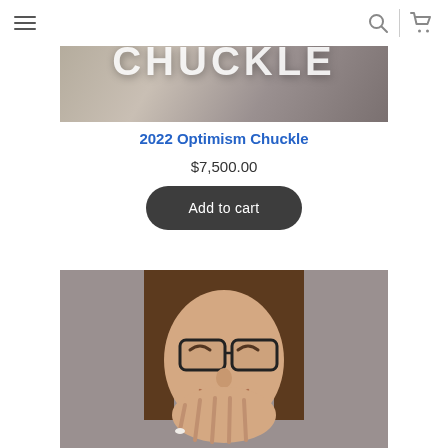Navigation bar with hamburger menu, search icon, separator, and cart icon
[Figure (photo): Cropped product image showing the word CHUCKLE in large white/silver letters on a blurred background]
2022 Optimism Chuckle
$7,500.00
Add to cart
[Figure (photo): Photo of a young woman with long brown hair and black-rimmed glasses, laughing and covering her mouth with her hand, on a gray background]